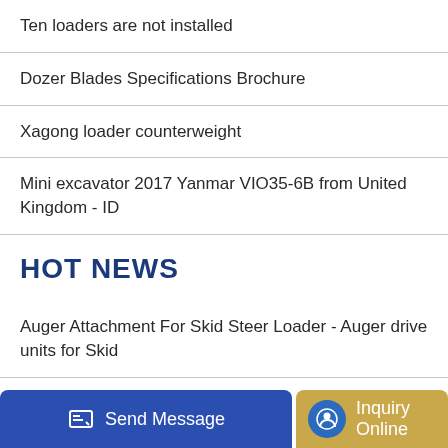Ten loaders are not installed
Dozer Blades Specifications Brochure
Xagong loader counterweight
Mini excavator 2017 Yanmar VIO35-6B from United Kingdom - ID
HOT NEWS
Auger Attachment For Skid Steer Loader - Auger drive units for Skid
Lindbeck Excavator
Send Message  Inquiry Online